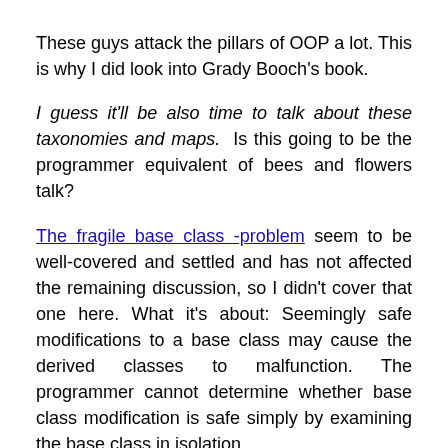These guys attack the pillars of OOP a lot. This is why I did look into Grady Booch's book.
I guess it'll be also time to talk about these taxonomies and maps. Is this going to be the programmer equivalent of bees and flowers talk?
The fragile base class -problem seem to be well-covered and settled and has not affected the remaining discussion, so I didn't cover that one here. What it's about: Seemingly safe modifications to a base class may cause the derived classes to malfunction. The programmer cannot determine whether base class modification is safe simply by examining the base class in isolation.
He mentions interface-based polymorphism as an alternative but doesn't say what it is or link to anything!
Elm has become a laughing stock. They skipped typeclasses in hopes that something better appears. So far